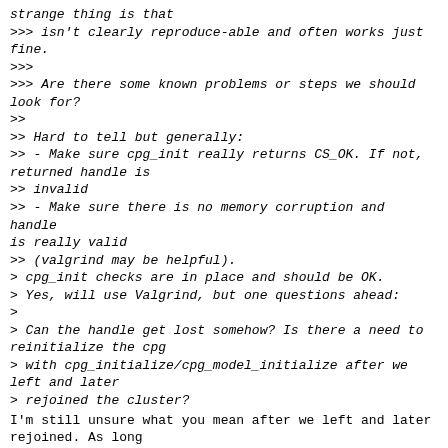strange thing is that
>>> isn't clearly reproduce-able and often works just fine.
>>>
>>> Are there some known problems or steps we should look for?
>>
>> Hard to tell but generally:
>> - Make sure cpg_init really returns CS_OK. If not, returned handle is
>> invalid
>> - Make sure there is no memory corruption and handle is really valid
>> (valgrind may be helpful).
> cpg_init checks are in place and should be OK.
> Yes, will use Valgrind, but one questions ahead:
>
> Can the handle get lost somehow? Is there a need to reinitialize the cpg
> with cpg_initialize/cpg_model_initialize after we left and later
> rejoined the cluster?

I'm still unsure what you mean after we left and later rejoined. As long
as corosync is running client application "don't need to care about"
membership changes. It's corosync problem. So if network split happens,
you don't have to call cpg_initialize. Only place where
cpg_initalize is